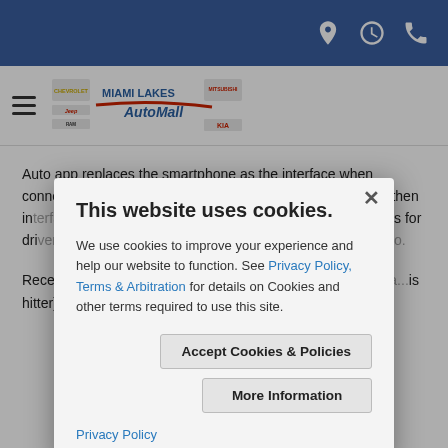Miami Lakes AutoMall website header with navigation icons (location, clock, phone)
[Figure (logo): Miami Lakes AutoMall logo with Chevy, Jeep, RAM, Mitsubishi, Kia brand logos]
Auto app replaces the smartphone as the interface when connected to the car. The infotainment touchscreen display then in... giving the dri... een in the da... ovides for dri... er than si... ades and ac... the Androi...
Recen... sted on a R... s out of the... is hitter)... lance
This website uses cookies.
We use cookies to improve your experience and help our website to function. See Privacy Policy, Terms & Arbitration for details on Cookies and other terms required to use this site.
Accept Cookies & Policies
More Information
Privacy Policy